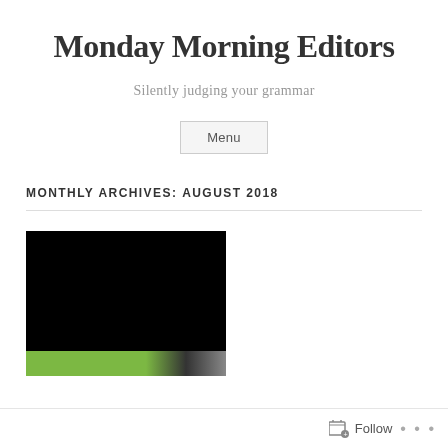Monday Morning Editors
Silently judging your grammar
Menu
MONTHLY ARCHIVES: AUGUST 2018
[Figure (photo): A post thumbnail image, mostly black with a colorful strip at the bottom showing green and dark tones.]
Follow • • •